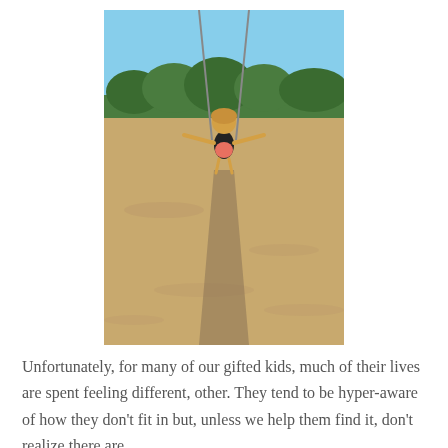[Figure (photo): A child on a swing set at a sandy beach/playground area, arms spread wide, with chains visible above, green trees and blue sky in the background. The child casts a long shadow on the sand.]
Unfortunately, for many of our gifted kids, much of their lives are spent feeling different, other. They tend to be hyper-aware of how they don't fit in but, unless we help them find it, don't realize there are